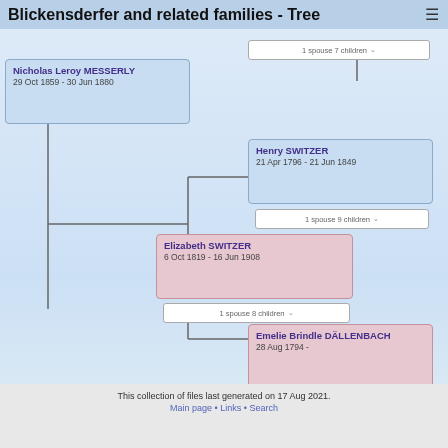Blickensderfer and related families - Tree
[Figure (organizational-chart): Family tree showing Nicholas Leroy MESSERLY (29 Oct 1859 - 30 Jun 1880), Henry SWITZER (21 Apr 1796 - 21 Jun 1849) with 1 spouse 9 children, Elizabeth SWITZER (6 Oct 1819 - 16 Jun 1908) with 1 spouse 8 children, and Emelie Brindle DÄLLENBACH (28 Aug 1794 -) with 1 spouse 9 children. An unlabeled box at top shows 1 spouse 7 children.]
This collection of files last generated on 17 Aug 2021.
Main page • Links • Search